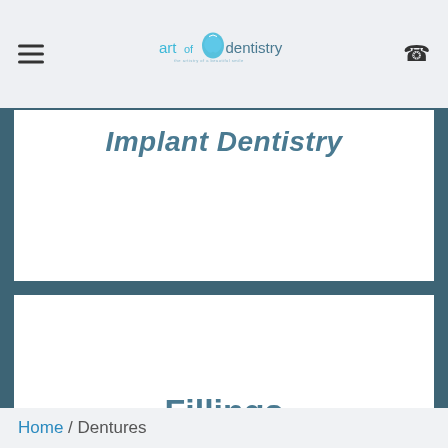art of dentistry
Implant Dentistry
Fillings
Cosmetic Dentristry
Home / Dentures